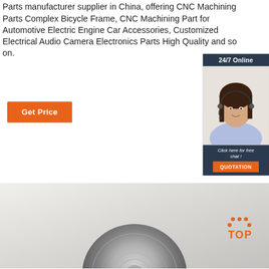Parts manufacturer supplier in China, offering CNC Machining Parts Complex Bicycle Frame, CNC Machining Part for Automotive Electric Engine Car Accessories, Customized Electrical Audio Camera Electronics Parts High Quality and so on.
Get Price
[Figure (photo): Customer service representative woman wearing headset smiling, with '24/7 Online' header, 'Click here for free chat!' text, and 'QUOTATION' orange button, all in a dark navy blue chat widget panel]
[Figure (photo): CNC machined metal disc/rotor part on a light grey gradient background, with an orange 'TOP' icon with dots in the top-right corner area]